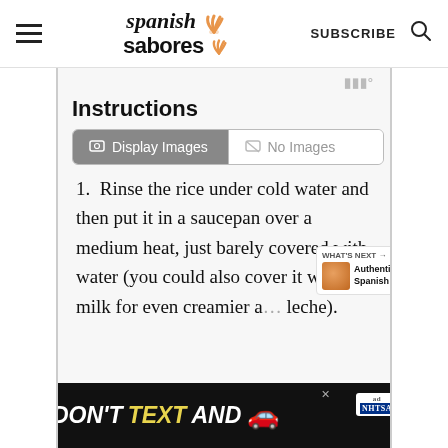Spanish Sabores — SUBSCRIBE
Instructions
[Figure (screenshot): Toggle bar with 'Display Images' (active) and 'No Images' (inactive) buttons]
1. Rinse the rice under cold water and then put it in a saucepan over a medium heat, just barely covered with water (you could also cover it with milk for even creamier a... leche).
[Figure (other): DON'T TEXT AND [car emoji] advertisement banner — NHTSA ad]
[Figure (other): What's Next panel: Authentic Spanish Fla...]